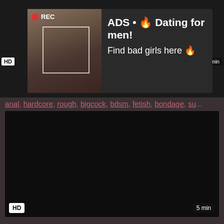[Figure (screenshot): Video thumbnail with camera/REC overlay and ad overlay showing woman taking selfie]
ADS • 🔥 Dating for men! Find bad girls here 🔥
anal, hardcore, rough, bigcock, bdsm, fetish, bondage, su...
[Figure (screenshot): Dark video player area with HD badge and 5 min duration badge]